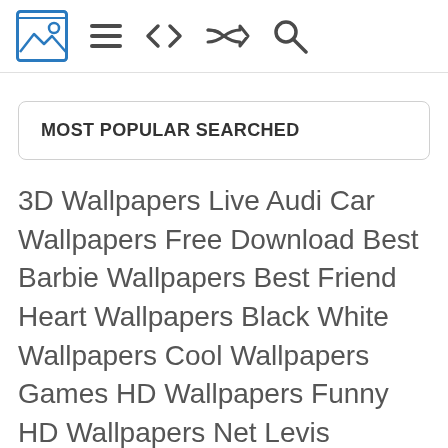[Figure (screenshot): App header bar with image/wallpaper logo icon (blue framed landscape image), hamburger menu icon, code brackets icon, shuffle icon, and search/magnifying glass icon]
MOST POPULAR SEARCHED
3D Wallpapers Live Audi Car Wallpapers Free Download Best Barbie Wallpapers Best Friend Heart Wallpapers Black White Wallpapers Cool Wallpapers Games HD Wallpapers Funny HD Wallpapers Net Levis Wallpapers Lord Shiva Wallpapers Marine Corps. Wallpaper MariG Wallpaper